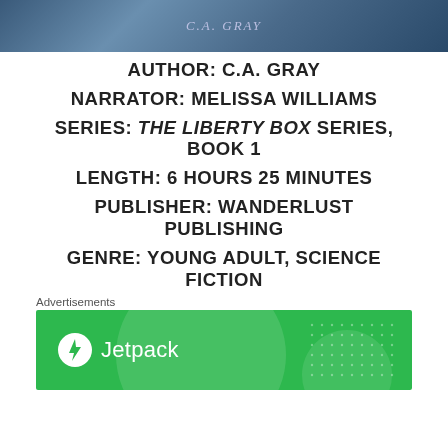[Figure (photo): Book cover image cropped at top, dark blue/teal starry background with author name text]
AUTHOR: C.A. GRAY
NARRATOR: MELISSA WILLIAMS
SERIES: THE LIBERTY BOX SERIES, BOOK 1
LENGTH: 6 HOURS 25 MINUTES
PUBLISHER: WANDERLUST PUBLISHING
GENRE: YOUNG ADULT, SCIENCE FICTION
Advertisements
[Figure (logo): Jetpack advertisement banner with green background, Jetpack logo (lightning bolt in circle) and Jetpack text, decorative circles and dot pattern]